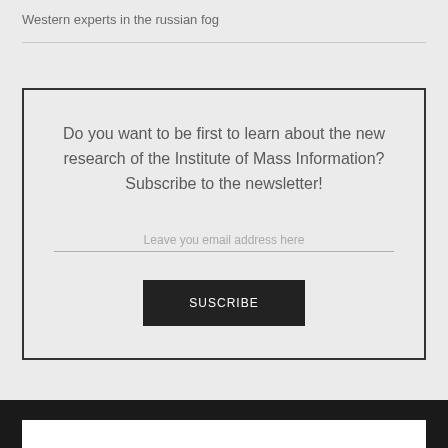Western experts in the russian fog
Do you want to be first to learn about the new research of the Institute of Mass Information? Subscribe to the newsletter!
Leave you email address here
SUSCRIBE